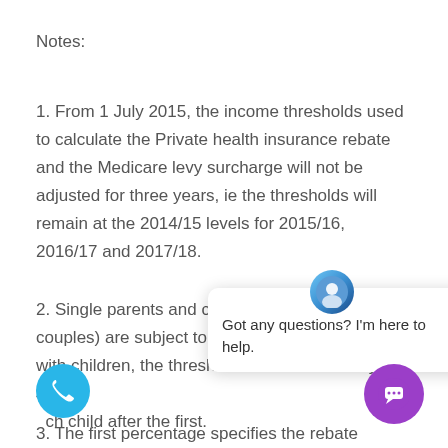Notes:
1. From 1 July 2015, the income thresholds used to calculate the Private health insurance rebate and the Medicare levy surcharge will not be adjusted for three years, ie the thresholds will remain at the 2014/15 levels for 2015/16, 2016/17 and 2017/18.
2. Single parents and couples) are subject to with children, the thresholds are increased by $1,500 ch child after the first.
3. The first percentage specifies the rebate